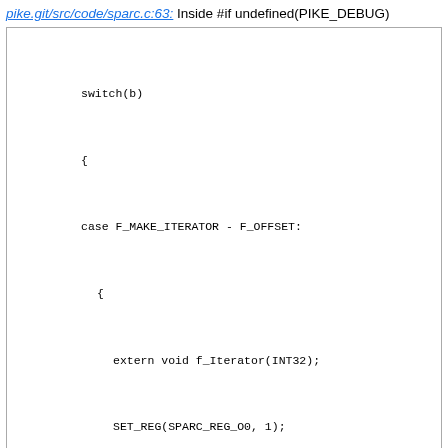pike.git/src/code/sparc.c:63: Inside #if undefined(PIKE_DEBUG)
switch(b)
{
case F_MAKE_ITERATOR - F_OFFSET:
  {
    extern void f_Iterator(INT32);
    SET_REG(SPARC_REG_O0, 1);
    delay_ok = 1;
    addr = (void *)f_Iterator;
  }
  break;
- case F_COMPL - F_OFFSET: addr=(void *)o_compl;
- case F_LSH - F_OFFSET: addr=(void *)o_lsh; break;
- case F_RSH - F_OFFSET: addr=(void *)o_rsh; break;
+
  case F_ADD - F_OFFSET:
    SET_REG(SPARC_REG_O0, 2);
    delay_ok = 1;
    addr = (void *)f_add;
    break;
- case F_SUBTRACT - F_OFFSET: addr = (void *)o_su
- case F_AND - F_OFFSET: addr=(void *)o_and; break;
- case F_OR - F_OFFSET: addr=(void *)o_or; break;
- case F_XOR - F_OFFSET: addr=(void *)o_xor; break;
- case F_MULTIPLY - F_OFFSET: addr=(void *)o_mult;
- case F_DIVIDE - F_OFFSET: addr=(void *)o_divide